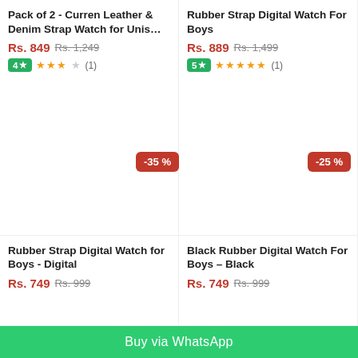Pack of 2 - Curren Leather & Denim Strap Watch for Unis…
Rs. 849  Rs. 1,249  Rating: 4 stars (1 review)
Rubber Strap Digital Watch For Boys
Rs. 889  Rs. 1,499  Rating: 5 stars (1 review)
[Figure (other): Discount badge -35%]
[Figure (other): Discount badge -25%]
Rubber Strap Digital Watch for Boys - Digital
Rs. 749  Rs. 999
Black Rubber Digital Watch For Boys – Black
Rs. 749  Rs. 999
Buy via WhatsApp